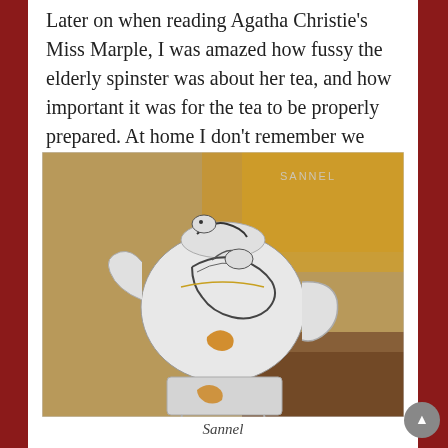Later on when reading Agatha Christie's Miss Marple, I was amazed how fussy the elderly spinster was about her tea, and how important it was for the tea to be properly prepared. At home I don't remember we made such a fuss about the tea we drank when we were ill.
[Figure (photo): White ceramic teapot with dragon design in black and gold, sitting on a matching warmer/stand. Both pieces feature dragon motifs. The teapot has a dragon-shaped handle and spout. Watermark 'SANNEL' visible in upper right corner of the photo.]
Sannel